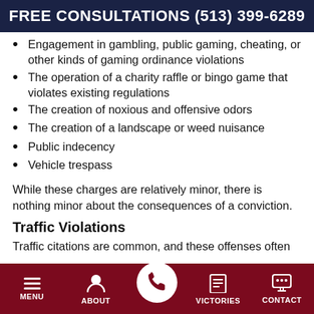FREE CONSULTATIONS (513) 399-6289
Engagement in gambling, public gaming, cheating, or other kinds of gaming ordinance violations
The operation of a charity raffle or bingo game that violates existing regulations
The creation of noxious and offensive odors
The creation of a landscape or weed nuisance
Public indecency
Vehicle trespass
While these charges are relatively minor, there is nothing minor about the consequences of a conviction.
Traffic Violations
Traffic citations are common, and these offenses often
MENU  ABOUT  [call]  VICTORIES  CONTACT